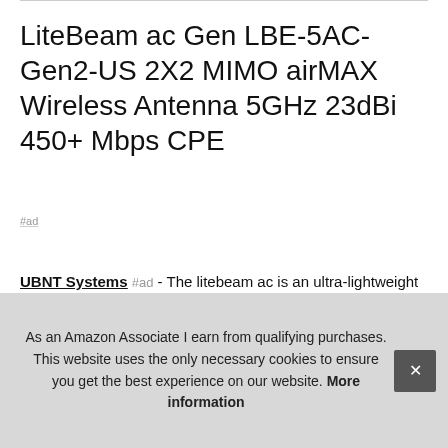LiteBeam ac Gen LBE-5AC-Gen2-US 2X2 MIMO airMAX Wireless Antenna 5GHz 23dBi 450+ Mbps CPE
#ad
UBNT Systems #ad - The litebeam ac is an ultra-lightweight airMAX ac CPE device with incredible range and disruptive pricing. Ubiquiti litebeam gen 2 lbe 5ac gen2 2x2 mimo airmax 5GHz 23dBi 450+ Mbps CPE ultra-lightweight
As an Amazon Associate I earn from qualifying purchases. This website uses the only necessary cookies to ensure you get the best experience on our website. More information